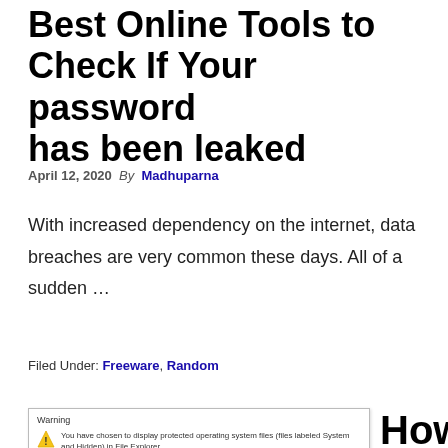Best Online Tools to Check If Your password has been leaked
April 12, 2020  By  Madhuparna
With increased dependency on the internet, data breaches are very common these days. All of a sudden …
Filed Under: Freeware, Random
[Figure (screenshot): Warning dialog box showing a message about displaying protected operating system files in File Explorer, with a yellow warning triangle icon.]
How to